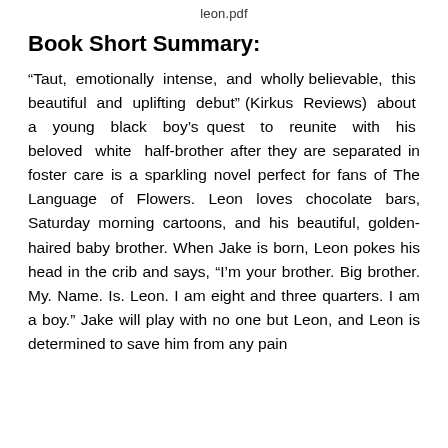leon.pdf
Book Short Summary:
“Taut, emotionally intense, and wholly believable, this beautiful and uplifting debut” (Kirkus Reviews) about a young black boy’s quest to reunite with his beloved white half-brother after they are separated in foster care is a sparkling novel perfect for fans of The Language of Flowers. Leon loves chocolate bars, Saturday morning cartoons, and his beautiful, golden-haired baby brother. When Jake is born, Leon pokes his head in the crib and says, “I’m your brother. Big brother. My. Name. Is. Leon. I am eight and three quarters. I am a boy.” Jake will play with no one but Leon, and Leon is determined to save him from any pain